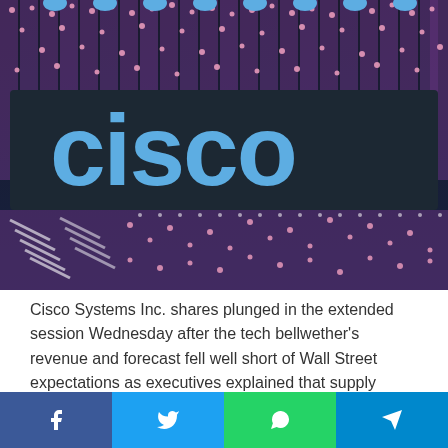[Figure (photo): Cisco illuminated logo sign with colorful LED decorations in purple and pink on a dark background]
Cisco Systems Inc. shares plunged in the extended session Wednesday after the tech bellwether's revenue and forecast fell well short of Wall Street expectations as executives explained that supply problems caused by COVID lockdowns in China were the main culprit.